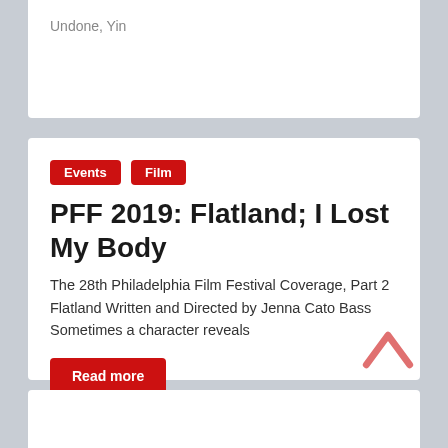Undone, Yin
Events
Film
PFF 2019: Flatland; I Lost My Body
The 28th Philadelphia Film Festival Coverage, Part 2 Flatland Written and Directed by Jenna Cato Bass Sometimes a character reveals
Read more
October 26, 2019   Rachel Bellwoar   0 Comment
Flatland, I Lost My Body, Netflix, PFF28, Philadelphia Film Festival